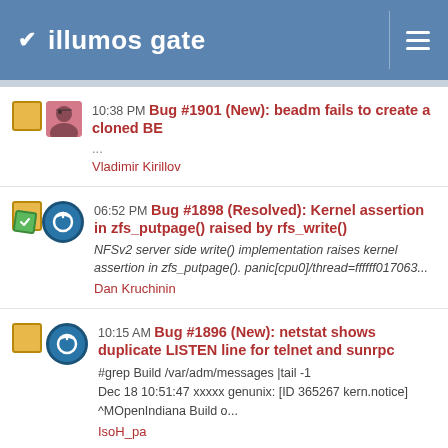illumos gate
10:38 PM Bug #1901 (New): beadm fails to create a cloned BE ... Vladimir Kirillov
06:52 PM Bug #1898 (Resolved): Kernel assertion in zfs_putpage() raised by rfs_write() NFSv2 server side write() implementation raises kernel assertion in zfs_putpage(). panic[cpu0]/thread=ffffff017063... Dan Kruchinin
10:15 AM Bug #1896 (New): netstat shows duplicate LISTEN line for telnet and sunrpc #grep Build /var/adm/messages |tail -1 Dec 18 10:51:47 xxxxx genunix: [ID 365267 kern.notice] ^MOpenIndiana Build o... IsoH_pa